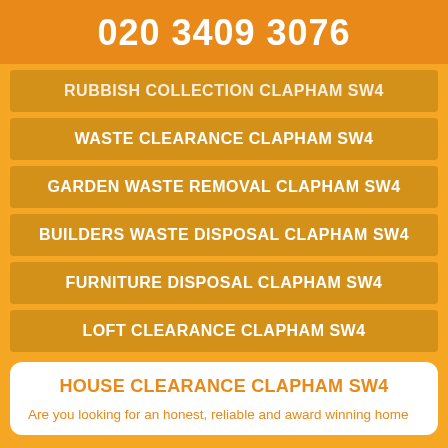020 3409 3076
RUBBISH COLLECTION CLAPHAM SW4
WASTE CLEARANCE CLAPHAM SW4
GARDEN WASTE REMOVAL CLAPHAM SW4
BUILDERS WASTE DISPOSAL CLAPHAM SW4
FURNITURE DISPOSAL CLAPHAM SW4
LOFT CLEARANCE CLAPHAM SW4
HOUSE CLEARANCE CLAPHAM SW4
Are you looking for an honest, reliable and award winning home